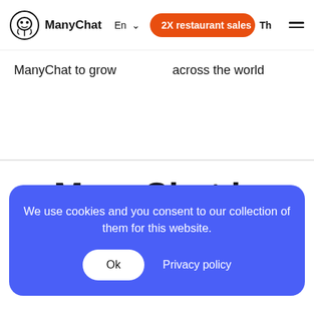ManyChat | En | 2X restaurant sales Th
ManyChat to grow   across the world
ManyChat is Chat Marketing
We use cookies and you consent to our collection of them for this website.
Ok   Privacy policy